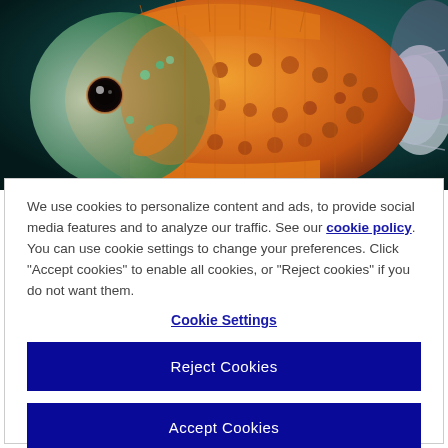[Figure (photo): Close-up photo of a colorful discus fish with orange and white spotted pattern, viewed from the side against a dark teal aquarium background.]
We use cookies to personalize content and ads, to provide social media features and to analyze our traffic. See our cookie policy. You can use cookie settings to change your preferences. Click "Accept cookies" to enable all cookies, or "Reject cookies" if you do not want them.
Cookie Settings
Reject Cookies
Accept Cookies